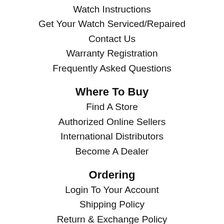Watch Instructions
Get Your Watch Serviced/Repaired
Contact Us
Warranty Registration
Frequently Asked Questions
Where To Buy
Find A Store
Authorized Online Sellers
International Distributors
Become A Dealer
Ordering
Login To Your Account
Shipping Policy
Return & Exchange Policy
2-Year Warranty
Connect With Us